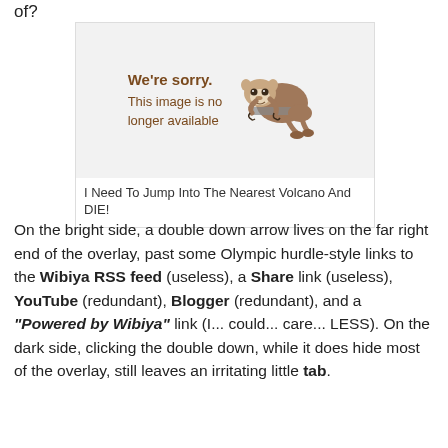of?
[Figure (illustration): An image placeholder showing a sloth hanging from a bar with text 'We're sorry. This image is no longer available']
I Need To Jump Into The Nearest Volcano And DIE!
On the bright side, a double down arrow lives on the far right end of the overlay, past some Olympic hurdle-style links to the Wibiya RSS feed (useless), a Share link (useless), YouTube (redundant), Blogger (redundant), and a "Powered by Wibiya" link (I... could... care... LESS). On the dark side, clicking the double down, while it does hide most of the overlay, still leaves an irritating little tab.